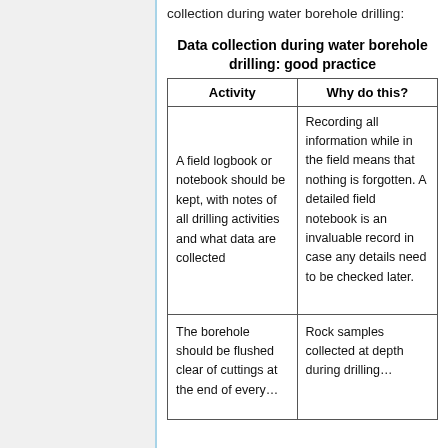collection during water borehole drilling:
| Activity | Why do this? |
| --- | --- |
| A field logbook or notebook should be kept, with notes of all drilling activities and what data are collected | Recording all information while in the field means that nothing is forgotten. A detailed field notebook is an invaluable record in case any details need to be checked later. |
| The borehole should be flushed clear of cuttings at the end of every... | Rock samples collected at depth during drilling... |